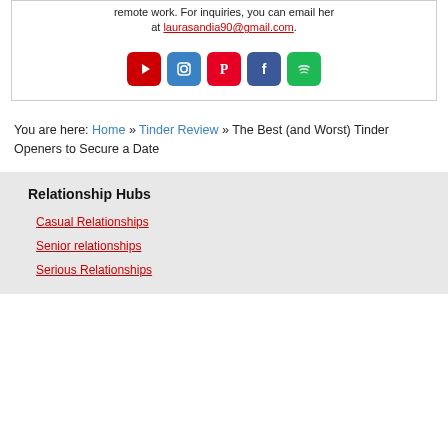remote work. For inquiries, you can email her at laurasandia90@gmail.com.
[Figure (infographic): Row of 5 social media icons: YouTube (red), Instagram (blue), Pinterest (red), Facebook (blue), Spotify (green)]
You are here: Home » Tinder Review » The Best (and Worst) Tinder Openers to Secure a Date
Relationship Hubs
Casual Relationships
Senior relationships
Serious Relationships